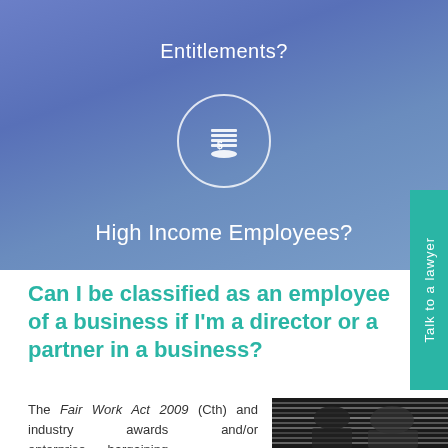[Figure (infographic): Blue gradient background with circle icon containing dollar/coins symbol]
Entitlements?
High Income Employees?
Talk to a lawyer
Can I be classified as an employee of a business if I'm a director or a partner in a business?
The Fair Work Act 2009 (Cth) and industry awards and/or enterprise bargaining
[Figure (photo): Black and white photo of people in business attire, partially visible]